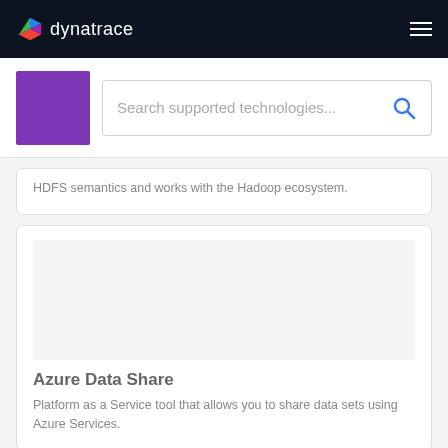dynatrace
[Figure (screenshot): Search bar with purple placeholder box and text 'Search supported technologies...' with blue search icon]
HDFS semantics and works with the Hadoop ecosystem.
Azure Data Share
Platform as a Service tool that allows you to share data sets using Azure Services.